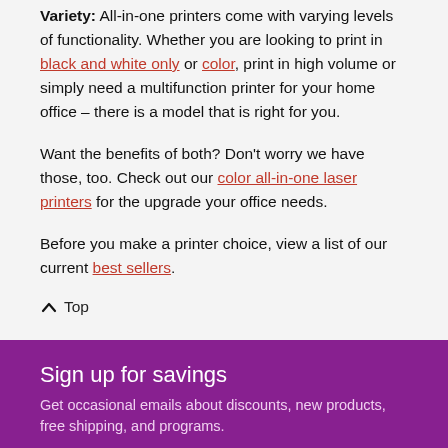Variety: All-in-one printers come with varying levels of functionality. Whether you are looking to print in black and white only or color, print in high volume or simply need a multifunction printer for your home office – there is a model that is right for you.
Want the benefits of both? Don't worry we have those, too. Check out our color all-in-one laser printers for the upgrade your office needs.
Before you make a printer choice, view a list of our current best sellers.
^ Top
Sign up for savings
Get occasional emails about discounts, new products, free shipping, and programs.
* Email Address